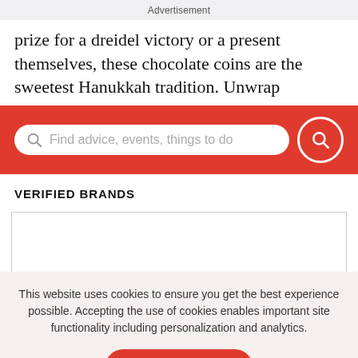Advertisement
prize for a dreidel victory or a present themselves, these chocolate coins are the sweetest Hanukkah tradition. Unwrap
[Figure (screenshot): Red search bar with white rounded input field containing placeholder text 'Find advice, events, things to do' with a search icon on the left and a red circular search button on the right]
VERIFIED BRANDS
[Figure (other): Empty white box with thin border representing a verified brands content area]
This website uses cookies to ensure you get the best experience possible. Accepting the use of cookies enables important site functionality including personalization and analytics.
Accept
Decline